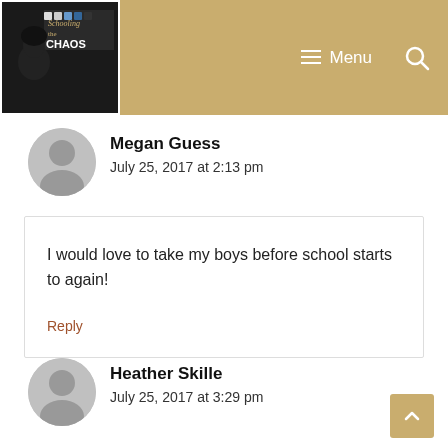Schooling a Chaos — Menu [navigation bar with logo]
Megan Guess
July 25, 2017 at 2:13 pm
I would love to take my boys before school starts to again!

Reply
Heather Skille
July 25, 2017 at 3:29 pm